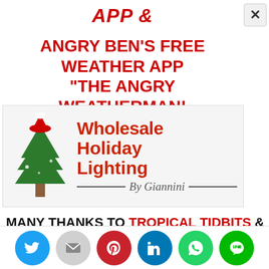APP &
ANGRY BEN'S FREE WEATHER APP "THE ANGRY WEATHERMAN!
[Figure (logo): Wholesale Holiday Lighting by Giannini advertisement banner with Christmas tree and Santa hat logo]
MANY THANKS TO TROPICAL TIDBITS &
This website uses cookies.
[Figure (infographic): Social share buttons row: Twitter, Email, Pinterest, LinkedIn, WhatsApp, LINE]